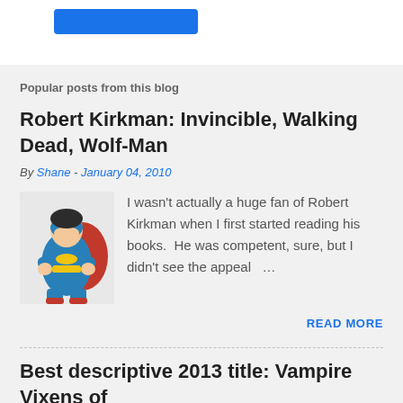[Figure (other): Blue button/banner at top of page]
Popular posts from this blog
Robert Kirkman: Invincible, Walking Dead, Wolf-Man
By Shane - January 04, 2010
[Figure (illustration): Comic book illustration of superhero character (Invincible) in yellow and blue costume with red cape]
I wasn't actually a huge fan of Robert Kirkman when I first started reading his books.  He was competent, sure, but I didn't see the appeal …
READ MORE
Best descriptive 2013 title: Vampire Vixens of the...